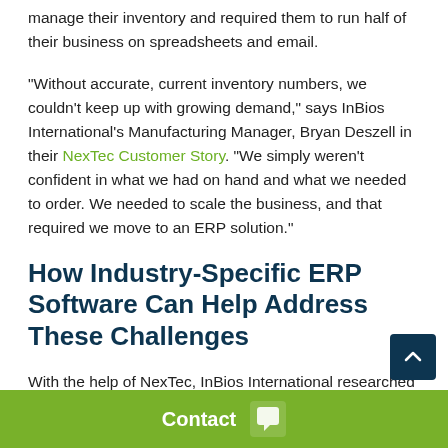manage their inventory and required them to run half of their business on spreadsheets and email.
“Without accurate, current inventory numbers, we couldn’t keep up with growing demand,” says InBios International’s Manufacturing Manager, Bryan Deszell in their NexTec Customer Story. “We simply weren’t confident in what we had on hand and what we needed to order. We needed to scale the business, and that required we move to an ERP solution.”
How Industry-Specific ERP Software Can Help Address These Challenges
With the help of NexTec, InBios International researched leading Cloud ERP options and ultimately chose A... implementation a...